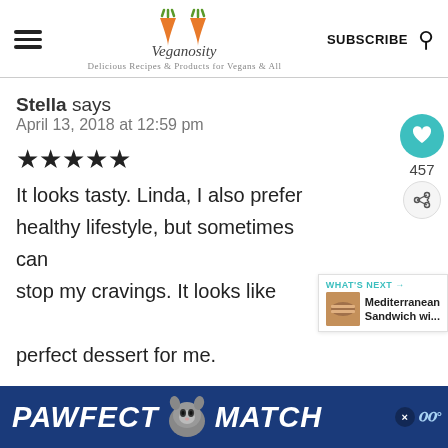Veganosity — SUBSCRIBE
Stella says
April 13, 2018 at 12:59 pm
★★★★★
It looks tasty. Linda, I also prefer healthy lifestyle, but sometimes can stop my cravings. It looks like perfect dessert for me.
[Figure (screenshot): 457 likes count with heart icon and share button widget on right side]
[Figure (screenshot): WHAT'S NEXT -> Mediterranean Sandwich wi... thumbnail widget]
[Figure (screenshot): PAWFECT MATCH advertisement banner at bottom]